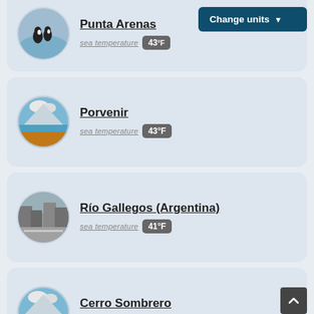Punta Arenas — sea temperature 43°F
[Figure (photo): Circular photo of penguins standing in water]
Change units ▾
Porvenir — sea temperature 43°F
[Figure (photo): Circular landscape photo with mountains and lake]
Río Gallegos (Argentina) — sea temperature 41°F
[Figure (photo): Circular photo of a street/city scene]
Cerro Sombrero — sea temperature 43°F
[Figure (photo): Circular landscape photo with mountains and lake]
Parque Nacional Bernardo O'Higgins